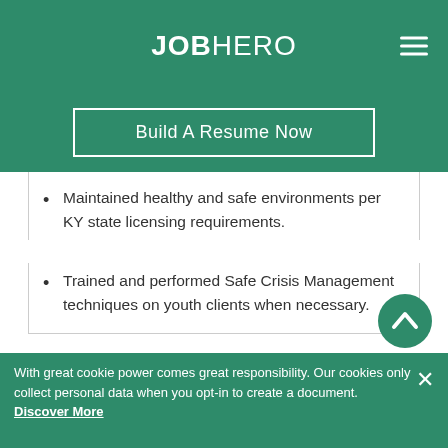JOBHERO
Build A Resume Now
Maintained healthy and safe environments per KY state licensing requirements.
Trained and performed Safe Crisis Management techniques on youth clients when necessary.
CANDIDATE INFO
11
With great cookie power comes great responsibility. Our cookies only collect personal data when you opt-in to create a document. Discover More